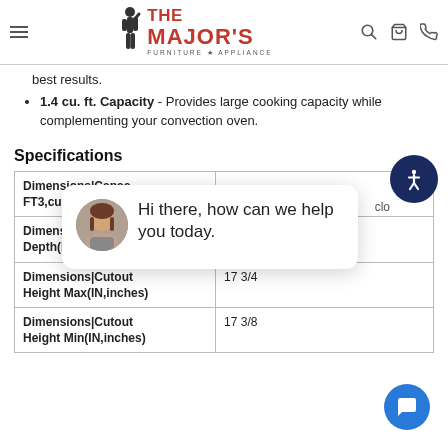THE MAJOR'S FURNITURE APPLIANCE
best results.
1.4 cu. ft. Capacity - Provides large cooking capacity while complementing your convection oven.
Specifications
| Attribute | Value |
| --- | --- |
| Dimensions|Capacity(FT3,cubic feet) |  |
| Dimensions|Cutout Depth(IN,inches) |  |
| Dimensions|Cutout Height Max(IN,inches) | 17 3/4 |
| Dimensions|Cutout Height Min(IN,inches) | 17 3/8 |